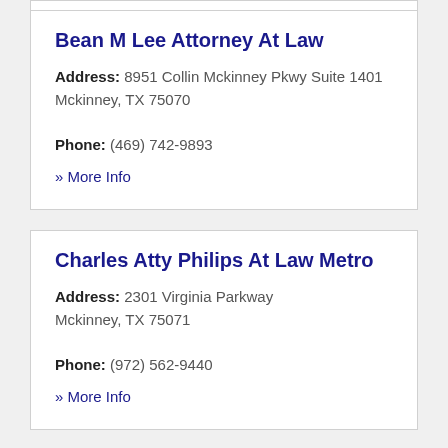Bean M Lee Attorney At Law
Address: 8951 Collin Mckinney Pkwy Suite 1401
Mckinney, TX 75070
Phone: (469) 742-9893
» More Info
Charles Atty Philips At Law Metro
Address: 2301 Virginia Parkway
Mckinney, TX 75071
Phone: (972) 562-9440
» More Info